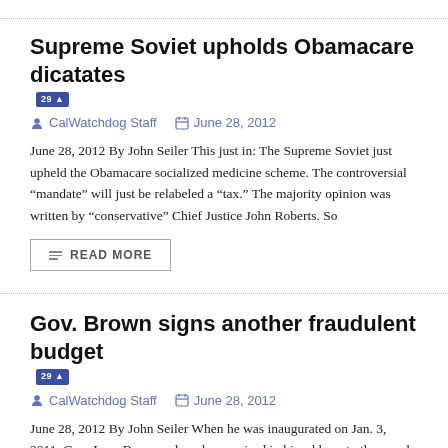Supreme Soviet upholds Obamacare dicatates
CalWatchdog Staff   June 28, 2012
June 28, 2012 By John Seiler This just in: The Supreme Soviet just upheld the Obamacare socialized medicine scheme. The controversial “mandate” will just be relabeled a “tax.” The majority opinion was written by “conservative” Chief Justice John Roberts. So
READ MORE
Gov. Brown signs another fraudulent budget
CalWatchdog Staff   June 28, 2012
June 28, 2012 By John Seiler When he was inaugurated on Jan. 3, 2011, Gov. Jerry Brown solemnly promised in his address to the people of California: “First, speak the truth. No more smoke